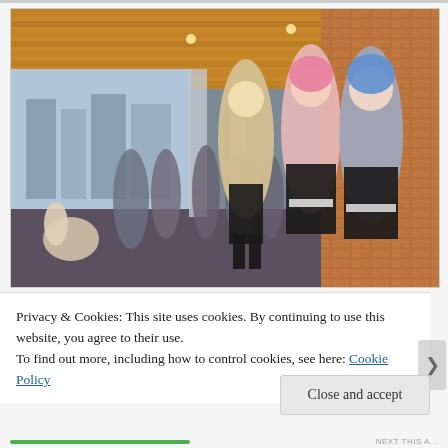[Figure (photo): Photo of cosplay attendees in costumes (maid-style outfits with pink and blue wigs) posing in a large convention center hallway with wooden ceiling panels, floor-to-ceiling windows, and other attendees in the background.]
Privacy & Cookies: This site uses cookies. By continuing to use this website, you agree to their use.
To find out more, including how to control cookies, see here: Cookie Policy
Close and accept